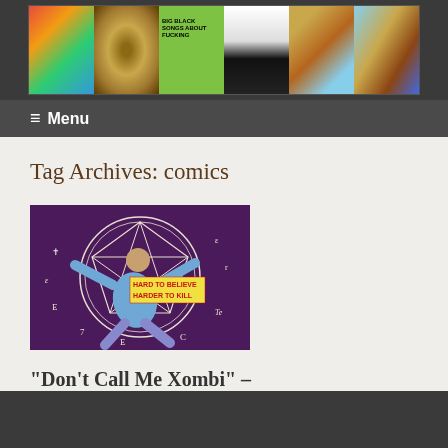[Figure (illustration): Website header banner showing six comic book and album covers side by side in a horizontal strip]
≡  Menu
Tag Archives: comics
[Figure (illustration): Comic book cover image showing a man in a blue jacket spread-eagled on a dark occult pentagram background with text 'HARD TO BELIEVE HARDER TO KILL']
“Don’t Call Me Xombi” –